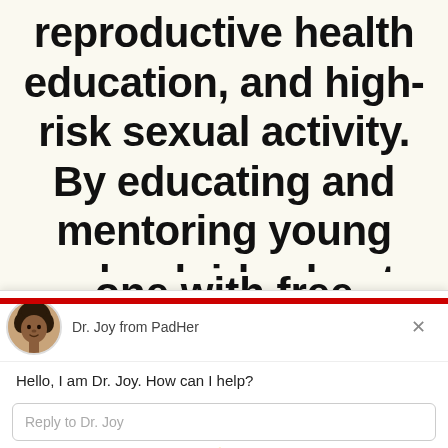reproductive health education, and high-risk sexual activity. By educating and mentoring young schoolgirls about periods and providing one with free reusable
[Figure (screenshot): Chat widget popup from PadHer showing avatar of Dr. Joy (illustrated Black woman with natural hair), name 'Dr. Joy from PadHer', greeting text 'Hello, I am Dr. Joy. How can I help?', reply input field 'Reply to Dr. Joy', and footer 'Chat ⚡ by Drift']